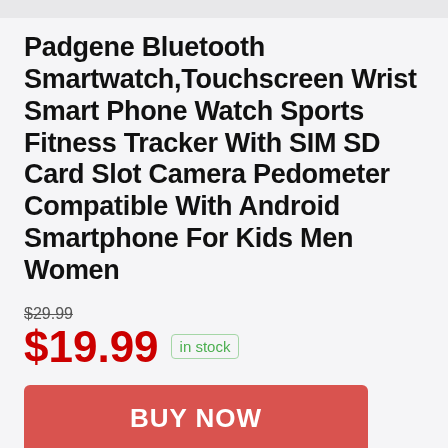Padgene Bluetooth Smartwatch,Touchscreen Wrist Smart Phone Watch Sports Fitness Tracker With SIM SD Card Slot Camera Pedometer Compatible With Android Smartphone For Kids Men Women
$29.99
$19.99 in stock
2 new from $19.99
Free shipping
BUY NOW